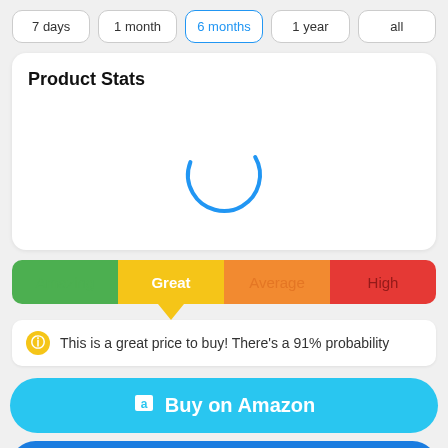7 days | 1 month | 6 months (active) | 1 year | all
Product Stats
[Figure (infographic): Loading spinner — blue circular arc indicating content is loading]
[Figure (infographic): Rating bar with four segments: Amazing (green), Great (yellow, active with arrow pointer), Average (orange), High (red)]
This is a great price to buy! There's a 91% probability
Buy on Amazon
Start Watching